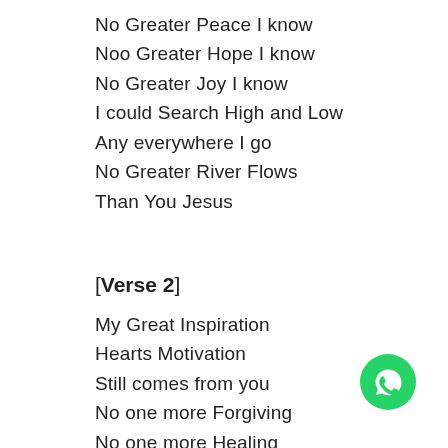No Greater Peace I know
Noo Greater Hope I know
No Greater Joy I know
I could Search High and Low
Any everywhere I go
No Greater River Flows
Than You Jesus
[Verse 2]
My Great Inspiration
Hearts Motivation
Still comes from you
No one more Forgiving
No one more Healing
[Figure (logo): WhatsApp logo — green circle with white phone/chat icon]